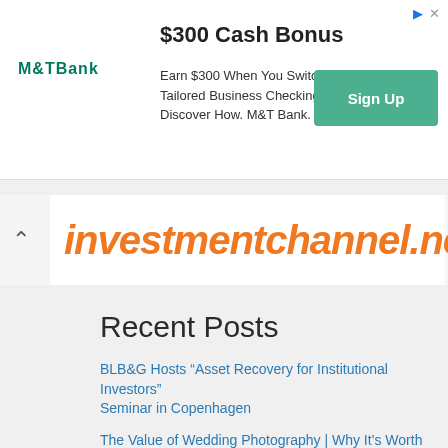[Figure (screenshot): M&T Bank advertisement banner: '$300 Cash Bonus' headline, body text 'Earn $300 When You Switch to an M&T Tailored Business Checking Account. Discover How. M&T Bank. Member FDIC.', green Sign Up button, M&T Bank logo]
[Figure (logo): investmentchannel.net logo in orange italic bold text on white background with a caret/chevron to the left]
Recent Posts
BLB&G Hosts “Asset Recovery for Institutional Investors” Seminar in Copenhagen
The Value of Wedding Photography | Why It's Worth Investing In | Christa Rene Photography
Prestige Oro Investment 50 Lbs Metal Jewelry Making Lost Wax | Etsy
Prestige Optima Investment 50 Lbs Metal Jewelry Making